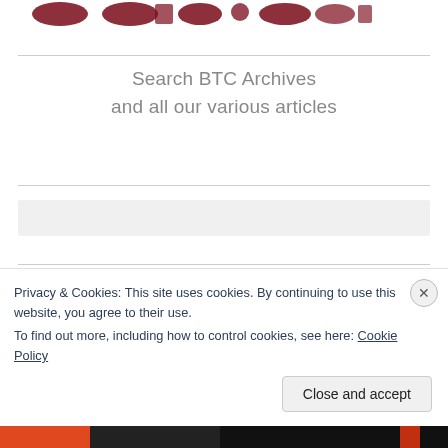[Figure (illustration): Partial view of decorative BTC logo/header with dark red ornamental design elements on white background]
Search BTC Archives
and all our various articles
[Figure (screenshot): Gray search input box area]
[Figure (screenshot): Search widget box with label 'Search']
Privacy & Cookies: This site uses cookies. By continuing to use this website, you agree to their use.
To find out more, including how to control cookies, see here: Cookie Policy
Close and accept